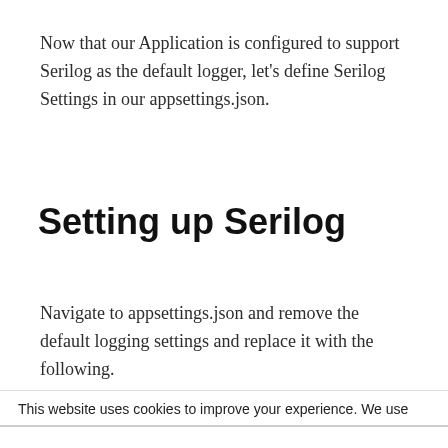Now that our Application is configured to support Serilog as the default logger, let's define Serilog Settings in our appsettings.json.
Setting up Serilog
Navigate to appsettings.json and remove the default logging settings and replace it with the following.
This website uses cookies to improve your experience. We use
[Figure (infographic): Advertisement banner for Tally app — 'Fast credit card payoff' with a green Download Now button and help/close icons]